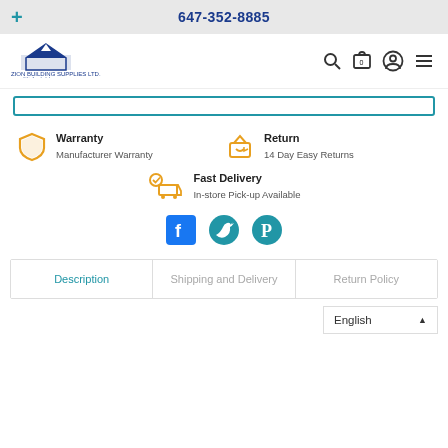647-352-8885
[Figure (logo): Zion Building Supplies Ltd. logo with blue house/mountain icon and Chinese characters 瑞安建材]
Warranty
Manufacturer Warranty
Return
14 Day Easy Returns
Fast Delivery
In-store Pick-up Available
[Figure (illustration): Social media icons: Facebook, Twitter, Pinterest]
Description | Shipping and Delivery | Return Policy
English